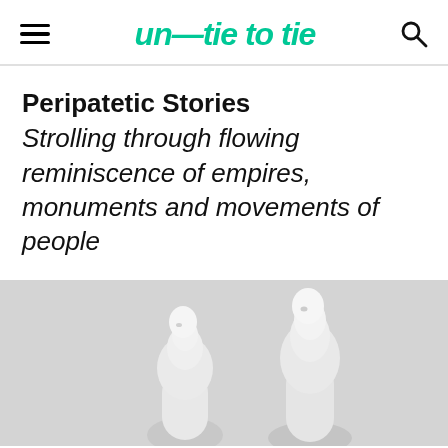UN—TIE TO TIE
Peripatetic Stories
Strolling through flowing reminiscence of empires, monuments and movements of people
[Figure (photo): Two white sculptural figures resembling abstract human/bird forms on a light grey background]